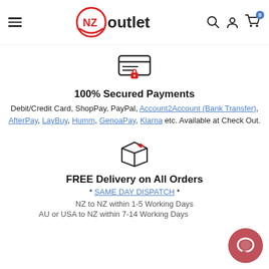NZ Outlet — hamburger menu, logo, search, account, cart (0)
[Figure (illustration): Credit card with lock icon — secured payment icon]
100% Secured Payments
Debit/Credit Card, ShopPay, PayPal, Account2Account (Bank Transfer), AfterPay, LayBuy, Humm, GenoaPay, Klarna etc. Available at Check Out.
[Figure (illustration): Shipping box icon]
FREE Delivery on All Orders
* SAME DAY DISPATCH *
NZ to NZ within 1-5 Working Days
AU or USA to NZ within 7-14 Working Days